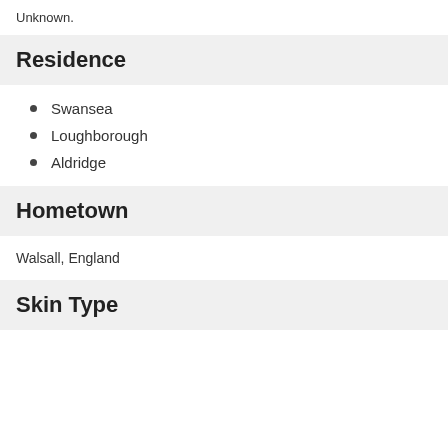Unknown.
Residence
Swansea
Loughborough
Aldridge
Hometown
Walsall, England
Skin Type